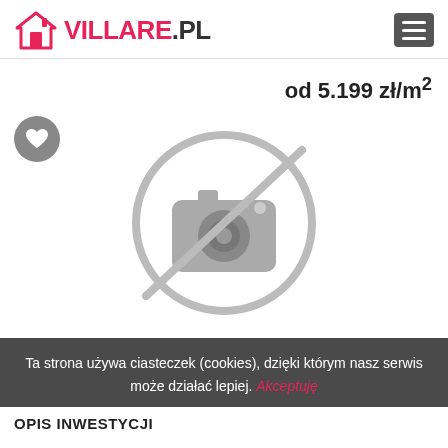VILLARE.PL
od 5.199 zł/m²
[Figure (illustration): Circular no-photo placeholder icon with a camera crossed out in grey]
Ta strona używa ciasteczek (cookies), dzięki którym nasz serwis może działać lepiej. Akceptuję
OPIS INWESTYCJI